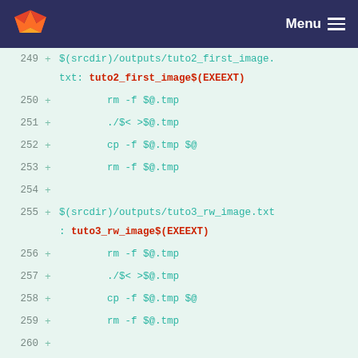GitLab Menu
249 + $(srcdir)/outputs/tuto2_first_image.txt: tuto2_first_image$(EXEEXT)
250 +     rm -f $@.tmp
251 +     ./$< >$@.tmp
252 +     cp -f $@.tmp $@
253 +     rm -f $@.tmp
254 +
255 + $(srcdir)/outputs/tuto3_rw_image.txt: tuto3_rw_image$(EXEEXT)
256 +     rm -f $@.tmp
257 +     ./$< >$@.tmp
258 +     cp -f $@.tmp $@
259 +     rm -f $@.tmp
260 +
261 + $(srcdir)/outputs/tuto4_genericity_and_algorithms.txt: tuto4_genericity_and_algorithms$(EXEEXT)
262 +     rm -f $@.tmp
263 +     ./$< >$@.tmp